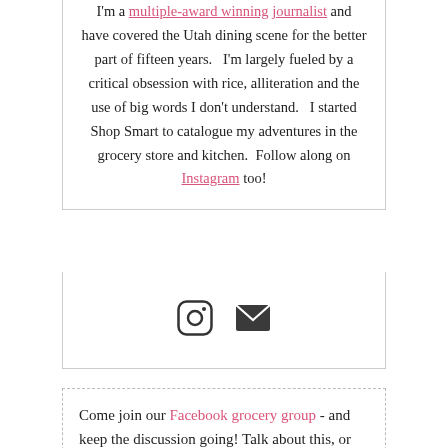I'm a multiple-award winning journalist and have covered the Utah dining scene for the better part of fifteen years.   I'm largely fueled by a critical obsession with rice, alliteration and the use of big words I don't understand.   I started Shop Smart to catalogue my adventures in the grocery store and kitchen.  Follow along on Instagram too!
[Figure (other): Two social media icons: an Instagram camera icon and an email envelope icon, displayed horizontally centered.]
Come join our Facebook grocery group - and keep the discussion going! Talk about this, or any other food product with like minded home cooks and shoppers. Also share what you've been